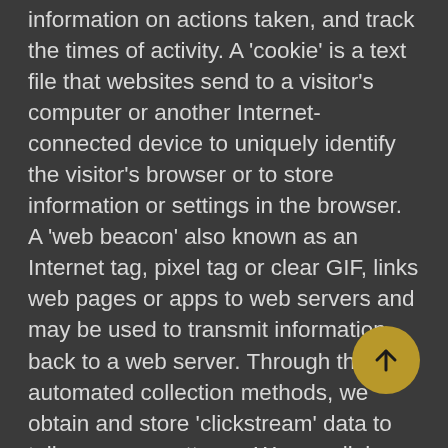information on actions taken, and track the times of activity. A 'cookie' is a text file that websites send to a visitor's computer or another Internet-connected device to uniquely identify the visitor's browser or to store information or settings in the browser. A 'web beacon' also known as an Internet tag, pixel tag or clear GIF, links web pages or apps to web servers and may be used to transmit information back to a web server. Through these automated collection methods, we obtain and store 'clickstream' data to tell us usage patterns. We may link certain data elements that we have collected through automated means, such as your browser information, with other information we have obtained about you to let us know, for example, whether you have opened an email we sent to you. We also may use third-party analytics tools that collect information about visitor traffic on our websites or apps. Your browser may tell you how to be notified when you receive certain types of cookies or how to restrict or disable certain types of cookies. Please note, however, that without cookies
[Figure (other): A circular golden/yellow button with an upward-pointing arrow icon (scroll to top button)]